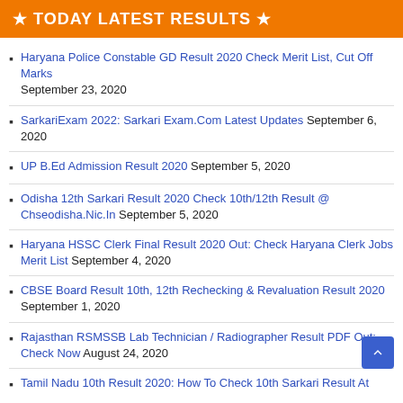★ TODAY LATEST RESULTS ★
Haryana Police Constable GD Result 2020 Check Merit List, Cut Off Marks September 23, 2020
SarkariExam 2022: Sarkari Exam.Com Latest Updates September 6, 2020
UP B.Ed Admission Result 2020 September 5, 2020
Odisha 12th Sarkari Result 2020 Check 10th/12th Result @ Chseodisha.Nic.In September 5, 2020
Haryana HSSC Clerk Final Result 2020 Out: Check Haryana Clerk Jobs Merit List September 4, 2020
CBSE Board Result 10th, 12th Rechecking & Revaluation Result 2020 September 1, 2020
Rajasthan RSMSSB Lab Technician / Radiographer Result PDF Out: Check Now August 24, 2020
Tamil Nadu 10th Result 2020: How To Check 10th Sarkari Result At